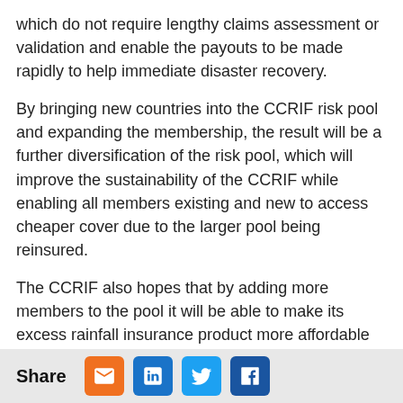which do not require lengthy claims assessment or validation and enable the payouts to be made rapidly to help immediate disaster recovery.
By bringing new countries into the CCRIF risk pool and expanding the membership, the result will be a further diversification of the risk pool, which will improve the sustainability of the CCRIF while enabling all members existing and new to access cheaper cover due to the larger pool being reinsured.
The CCRIF also hopes that by adding more members to the pool it will be able to make its excess rainfall insurance product more affordable to its members and help to expand its uptake.
If the project goes ahead the CCRIF could become the Central America & Caribbean Catastrophe Risk Insurance Facility, with an increase in its membership from the 16 of today to 23, with the addition of COSEFIN countries Costa Rica, Guatemala, El Salvador, Honduras, Nicaragua, Panama and the Dominican
Share